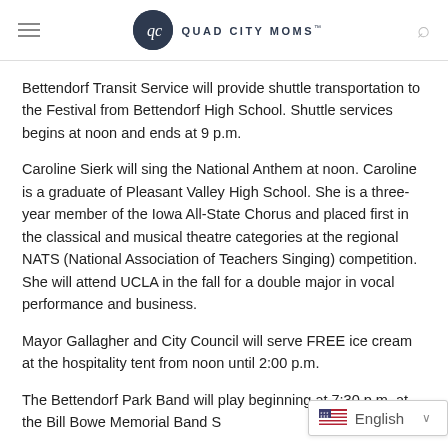QUAD CITY MOMS™
Bettendorf Transit Service will provide shuttle transportation to the Festival from Bettendorf High School. Shuttle services begins at noon and ends at 9 p.m.
Caroline Sierk will sing the National Anthem at noon. Caroline is a graduate of Pleasant Valley High School. She is a three-year member of the Iowa All-State Chorus and placed first in the classical and musical theatre categories at the regional NATS (National Association of Teachers Singing) competition. She will attend UCLA in the fall for a double major in vocal performance and business.
Mayor Gallagher and City Council will serve FREE ice cream at the hospitality tent from noon until 2:00 p.m.
The Bettendorf Park Band will play beginning at 7:30 p.m. at the Bill Bowe Memorial Band S…